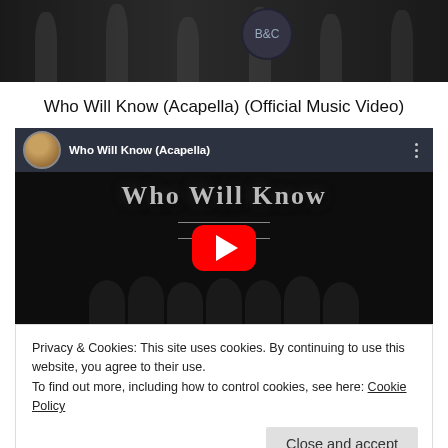[Figure (screenshot): Top portion of a dark webpage showing silhouettes and a flag/logo image]
Who Will Know (Acapella) (Official Music Video)
[Figure (screenshot): Embedded YouTube video player showing 'Who Will Know (Acapella)' music video with play button, channel avatar, and dark thumbnail with people silhouettes]
Privacy & Cookies: This site uses cookies. By continuing to use this website, you agree to their use.
To find out more, including how to control cookies, see here: Cookie Policy
Close and accept
Who Will Know (Acapella)